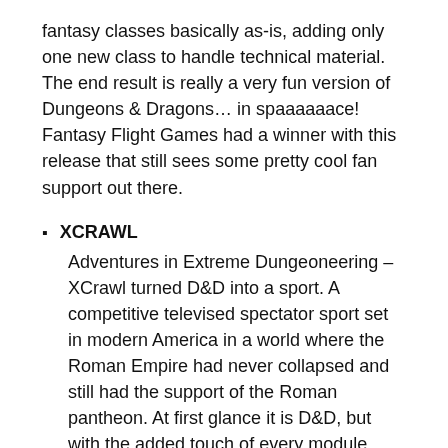fantasy classes basically as-is, adding only one new class to handle technical material. The end result is really a very fun version of Dungeons & Dragons… in spaaaaaace! Fantasy Flight Games had a winner with this release that still sees some pretty cool fan support out there.
XCRAWL
Adventures in Extreme Dungeoneering – XCrawl turned D&D into a sport. A competitive televised spectator sport set in modern America in a world where the Roman Empire had never collapsed and still had the support of the Roman pantheon. At first glance it is D&D, but with the added touch of every module being designed to be a killer romp through a very tight little dungeon and the players aren't just looking for the